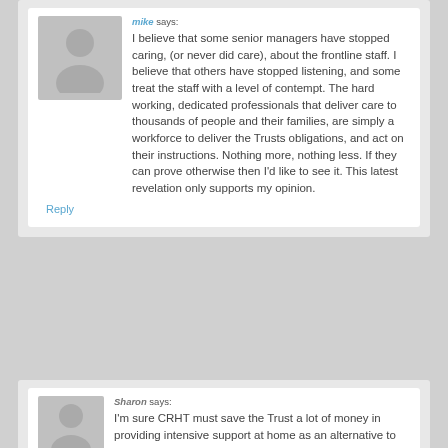mike says:
I believe that some senior managers have stopped caring, (or never did care), about the frontline staff. I believe that others have stopped listening, and some treat the staff with a level of contempt. The hard working, dedicated professionals that deliver care to thousands of people and their families, are simply a workforce to deliver the Trusts obligations, and act on their instructions. Nothing more, nothing less. If they can prove otherwise then I'd like to see it. This latest revelation only supports my opinion.
Reply
Sharon says:
I'm sure CRHT must save the Trust a lot of money in providing intensive support at home as an alternative to